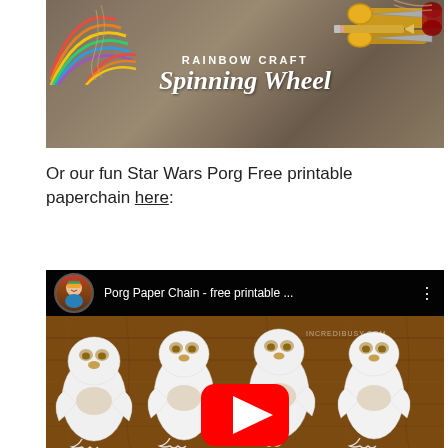[Figure (photo): Photo of craft supplies on a wooden table including rainbow paper craft circles, scissors, twine spool, and pencil. White text overlay reads 'RAINBOW CRAFT' and 'Spinning Wheel' in script font.]
Or our fun Star Wars Porg Free printable paperchain here:
[Figure (screenshot): YouTube video thumbnail showing 'Porg Paper Chain - free printable ...' by INCREDIBUSY.COM. Shows a woman's avatar, video title, and paper cut-out porg figures on a wooden surface with a YouTube play button.]